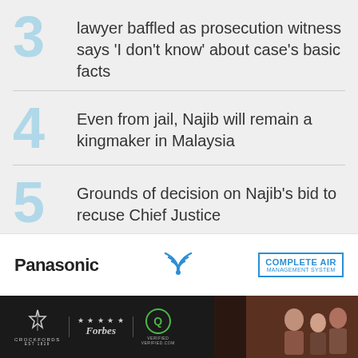3 lawyer baffled as prosecution witness says 'I don't know' about case's basic facts
4 Even from jail, Najib will remain a kingmaker in Malaysia
5 Grounds of decision on Najib's bid to recuse Chief Justice
[Figure (advertisement): Panasonic Complete Air Management System advertisement banner with wifi/AC unit icon and Complete Air logo box]
[Figure (advertisement): Dark footer bar with Crockfords logo, Forbes 5-star badge, Verified badge logos, and photo of people on the right]